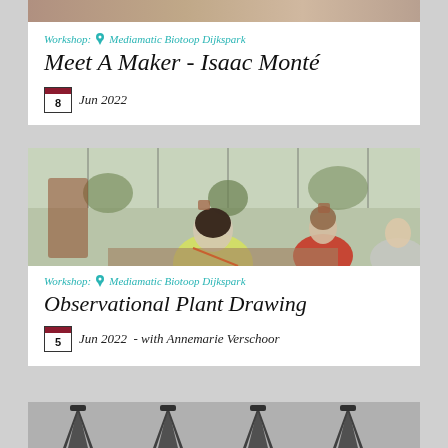[Figure (photo): Partial top image visible above first card, showing a dark/warm toned background]
Workshop: Mediamatic Biotoop Dijkspark
Meet A Maker - Isaac Monté
8  Jun 2022
[Figure (photo): Photo of people sitting at tables drawing plants in a greenhouse-like space with large windows and potted plants. A woman in yellow jacket draws in foreground, woman in red top sits behind her.]
Workshop: Mediamatic Biotoop Dijkspark
Observational Plant Drawing
5  Jun 2022  - with Annemarie Verschoor
[Figure (photo): Partial bottom image showing dark mechanical or tripod-like objects on grey background]